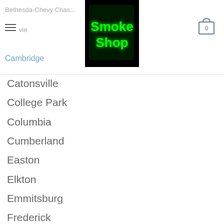Bethesda-Chevy Chase
[Figure (logo): Smoke Shop neon sign logo — green neon text on black background]
[Figure (other): Shopping cart icon with number 0]
Cambridge
Catonsville
College Park
Columbia
Cumberland
Easton
Elkton
Emmitsburg
Frederick
Greenbelt
Hagerstown
Hyattsville
Laurel
Oakland
Ocean City
Rockville